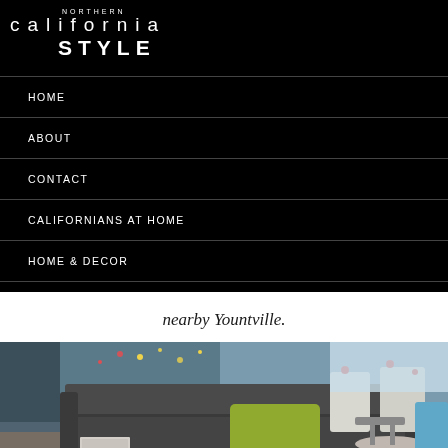NORTHERN california STYLE
HOME
ABOUT
CONTACT
CALIFORNIANS AT HOME
HOME & DECOR
MY CALIFORNIA CLOSET
nearby Yountville.
[Figure (photo): Interior lounge area with dark gray sofa, lime green throw pillow, round side table, and modern white chairs with red accents in background. Christmas/holiday decorations visible.]